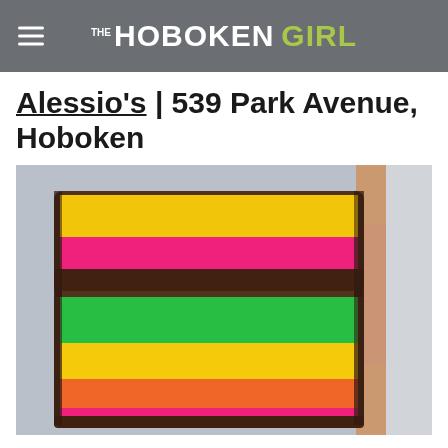THE HOBOKEN GIRL
Alessio's | 539 Park Avenue, Hoboken
[Figure (photo): Stacked rainbow Italian cookies (rainbow cake slices) showing colorful layers of yellow, pink/red, green, and orange cake with chocolate coating, held by a hand against a light background.]